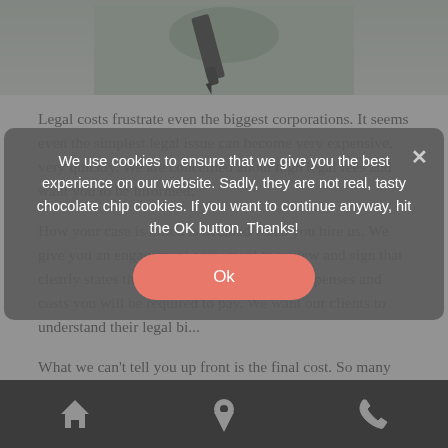[Figure (photo): Partial view of a person presumably holding a pen near green/muted background, cropped at top of page]
Legal costs frustrate even the biggest corporations. It seems even the simplest legal issue can become very expensive, very quickly. We are concerned about high legal fees and want you to be informed.
How your case is billed is decided when you hire us. We give you an engagement agreement to review and sign that clearly states the attorneys' fees and other expenses and costs you will be required to pay. We want our clients to understand their legal bi...
What we can't tell you up front is the final cost. So many variables influence the amount that is billed every month. We can provide a basic idea of what similar cases have cost, but that is no guarantee. Your case may be more (or less) expensive.
We use cookies to ensure that we give you the best experience on our website. Sadly, they are not real, tasty chocolate chip cookies. If you want to continue anyway, hit the OK button. Thanks!
Home | Location | Phone